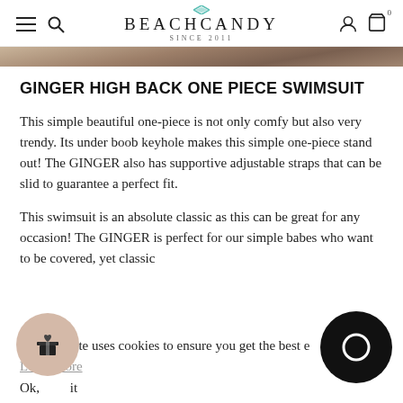BEACHCANDY SINCE 2011
[Figure (photo): Partial photo of a model wearing a swimsuit, cropped at top]
GINGER HIGH BACK ONE PIECE SWIMSUIT
This simple beautiful one-piece is not only comfy but also very trendy. Its under boob keyhole makes this simple one-piece stand out! The GINGER also has supportive adjustable straps that can be slid to guarantee a perfect fit.
This swimsuit is an absolute classic as this can be great for any occasion! The GINGER is perfect for our simple babes who want to be covered, yet classic
This website uses cookies to ensure you get the best experience. Learn more
Ok, got it